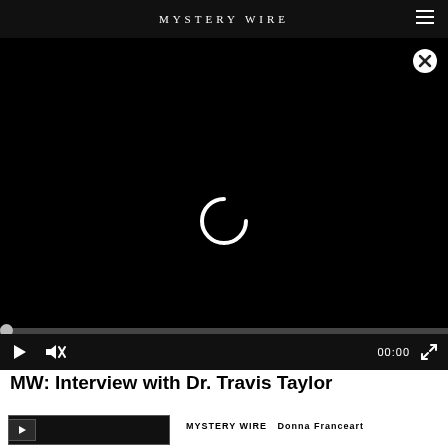MYSTERY WIRE
[Figure (screenshot): Black video player area with a loading spinner (partial circle arc) centered on screen, and a close (X) button in the top right corner.]
[Figure (screenshot): Video player controls bar showing a play button triangle, a muted speaker icon, a time display reading 00:00, and a fullscreen icon.]
MW: Interview with Dr. Travis Taylor
[Figure (screenshot): Thumbnail strip at the bottom showing a dark rectangular thumbnail placeholder with play button, and a label reading MYSTERY WIRE - Donna Franceart]